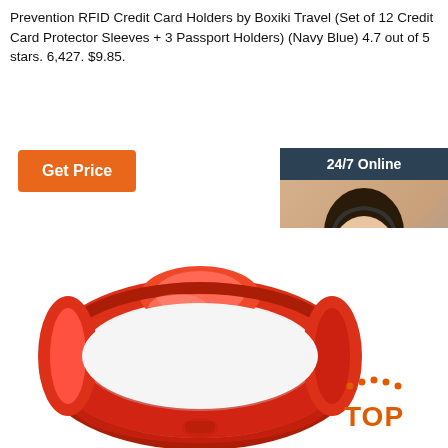Prevention RFID Credit Card Holders by Boxiki Travel (Set of 12 Credit Card Protector Sleeves + 3 Passport Holders) (Navy Blue) 4.7 out of 5 stars. 6,427. $9.85.
[Figure (screenshot): Orange 'Get Price' button]
[Figure (photo): Advertisement box showing a woman with headset, '24/7 Online', 'Click here for free chat!', orange QUOTATION button]
[Figure (photo): Red/orange RFID silicone wristband product photo with TOP badge]